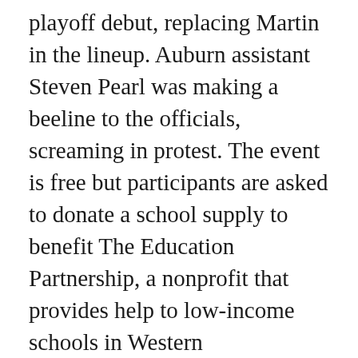playoff debut, replacing Martin in the lineup. Auburn assistant Steven Pearl was making a beeline to the officials, screaming in protest. The event is free but participants are asked to donate a school supply to benefit The Education Partnership, a nonprofit that provides help to low-income schools in Western Pennsylvania. Yes, they might decide to fill in with younger, cheaper safeties already on the roster, but the likelier move, I think, is they make a splash and Cheap Hockey Jerseys land one of the big-name safeties expected to be Cheap Florida Marlins Jerseys available on the open market. If you Wholesale Jerseys Cheap don't like the taxes in Wisconsin, at least you've got beer, cheese and the Green Bay